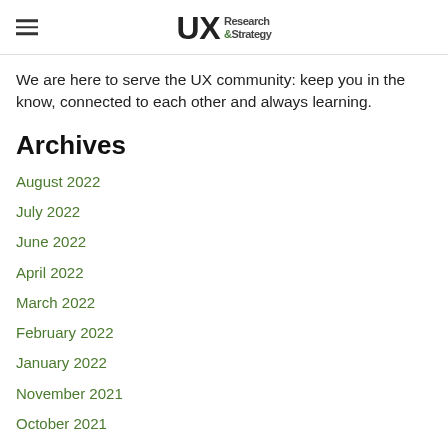UX Research & Strategy
We are here to serve the UX community: keep you in the know, connected to each other and always learning.
Archives
August 2022
July 2022
June 2022
April 2022
March 2022
February 2022
January 2022
November 2021
October 2021
August 2021
June 2021
April 2021
December 2020